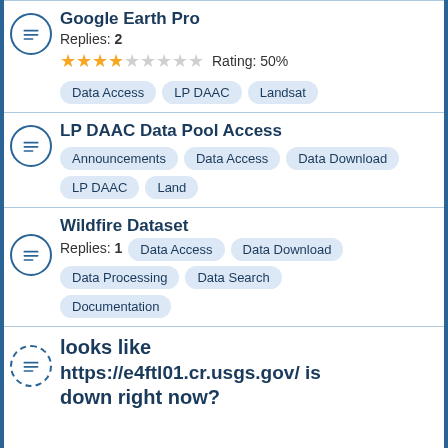Google Earth Pro — Replies: 2, Rating: 50%, Tags: Data Access, LP DAAC, Landsat
LP DAAC Data Pool Access — Tags: Announcements, Data Access, Data Download, LP DAAC, Land
Wildfire Dataset — Replies: 1, Tags: Data Access, Data Download, Data Processing, Data Search, Documentation
looks like https://e4ftl01.cr.usgs.gov/ is down right now?